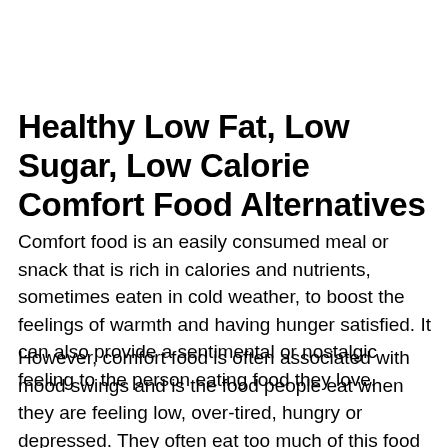Healthy Low Fat, Low Sugar, Low Calorie Comfort Food Alternatives
Comfort food is an easily consumed meal or snack that is rich in calories and nutrients, sometimes eaten in cold weather, to boost the feelings of warmth and having hunger satisfied. It can also provide a sentimental or nostalgic feeling to the person eating food they love.
However, comfort food is often associated with mood swings and is the food people eat when they are feeling low, over-tired, hungry or depressed. They often eat too much of this food and go well beyond satisfying any hunger pangs.